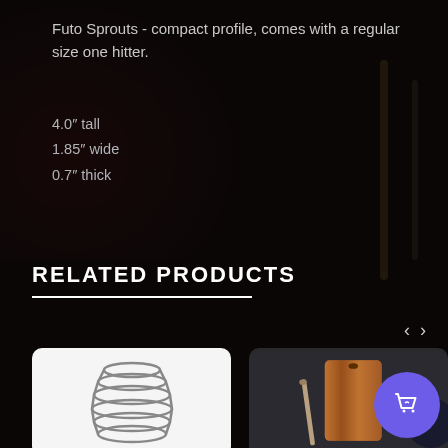Futo Sprouts - compact profile, comes with a regular size one hitter.
4.0" tall
1.85" wide
0.7" thick
RELATED PRODUCTS
[Figure (photo): A metal coil spring photographed on a white background]
[Figure (photo): A wooden dugout/one-hitter box with a metal pipe, photographed on a dark background]